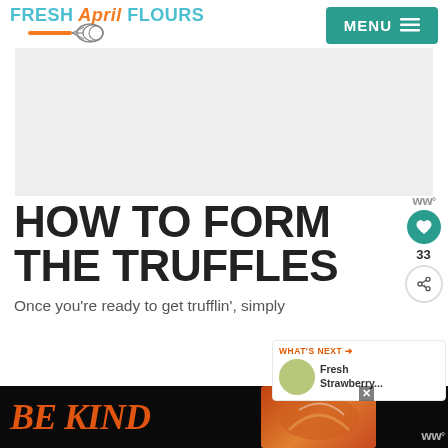FRESH April FLOURS | MENU
[Figure (photo): Gray placeholder/ad image block]
HOW TO FORM THE TRUFFLES
[Figure (infographic): What's Next panel with Fresh Strawberry... thumbnail]
Once you're ready to get trufflin', simply
[Figure (infographic): Bottom advertisement banner: BE KIND with decorative script and colorful image]